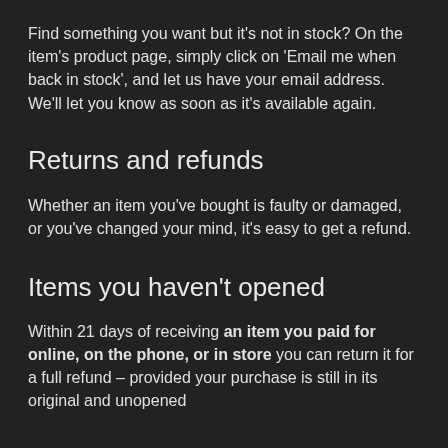Find something you want but it's not in stock? On the item's product page, simply click on 'Email me when back in stock', and let us have your email address. We'll let you know as soon as it's available again.
Returns and refunds
Whether an item you've bought is faulty or damaged, or you've changed your mind, it's easy to get a refund.
Items you haven't opened
Within 21 days of receiving an item you paid for online, on the phone, or in store you can return it for a full refund – provided your purchase is still in its original and unopened packaging. This guarantee is in addition to your statutory…